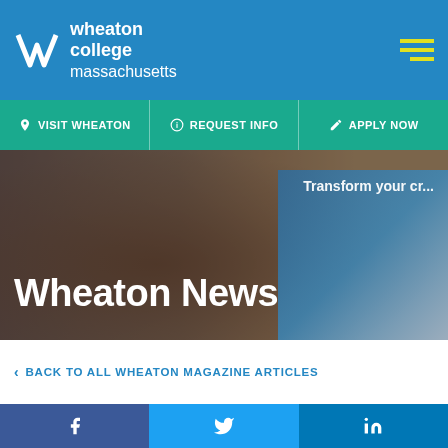wheaton college massachusetts
VISIT WHEATON | REQUEST INFO | APPLY NOW
[Figure (photo): Hero background photo with blurred person and university branding. Text 'Transform your...' visible on right side.]
Wheaton News
< BACK TO ALL WHEATON MAGAZINE ARTICLES
Inspiring change
f  (Facebook)  |  Twitter bird icon  |  in (LinkedIn)